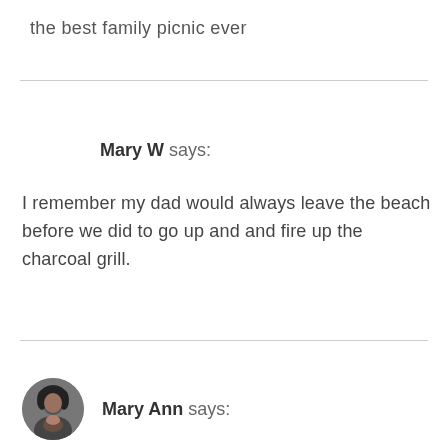the best family picnic ever
Mary W says:
I remember my dad would always leave the beach before we did to go up and and fire up the charcoal grill.
Mary Ann says: